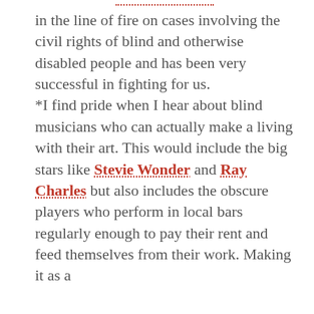in the line of fire on cases involving the civil rights of blind and otherwise disabled people and has been very successful in fighting for us. *I find pride when I hear about blind musicians who can actually make a living with their art. This would include the big stars like Stevie Wonder and Ray Charles but also includes the obscure players who perform in local bars regularly enough to pay their rent and feed themselves from their work. Making it as a